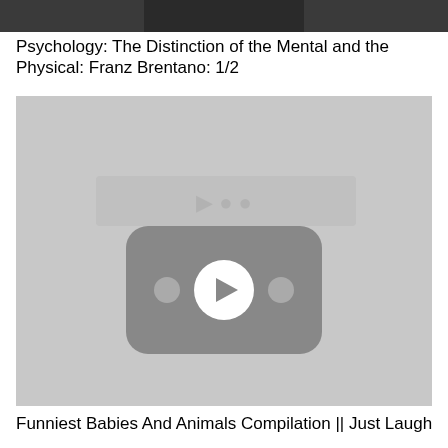[Figure (screenshot): Partial top of a video thumbnail showing a person in dark clothing against a dark background]
Psychology: The Distinction of the Mental and the Physical: Franz Brentano: 1/2
[Figure (screenshot): YouTube video thumbnail placeholder showing a grey background with a YouTube play button icon in the center]
Funniest Babies And Animals Compilation || Just Laugh